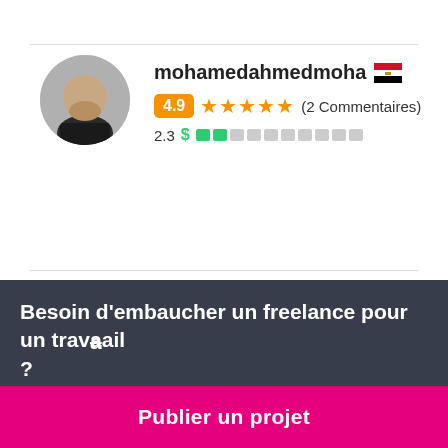mohamedahmedmoha 🇪🇬
4.9 ★★★★★ (2 Commentaires)
2.3 $
diab79 🇪🇬
Besoin d'embaucher un freelance pour un travail ?
Publier un projet